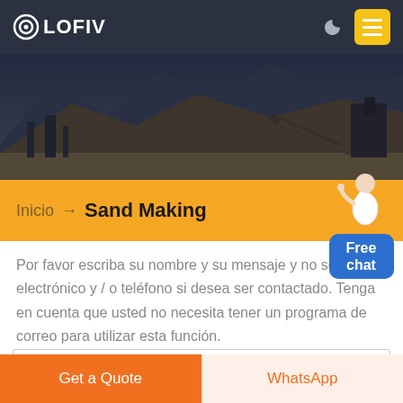[Figure (screenshot): OLOFIV website header with dark navy navigation bar showing logo, moon icon, and yellow menu button. Below is a hero image of a quarry/mining landscape with mountains and industrial equipment, with an orange breadcrumb bar reading 'Inicio → Sand Making'. A chat widget with avatar and 'Free chat' blue button appears on the right side.]
Por favor escriba su nombre y su mensaje y no se olvide electrónico y / o teléfono si desea ser contactado. Tenga en cuenta que usted no necesita tener un programa de correo para utilizar esta función.
Get a Quote
WhatsApp